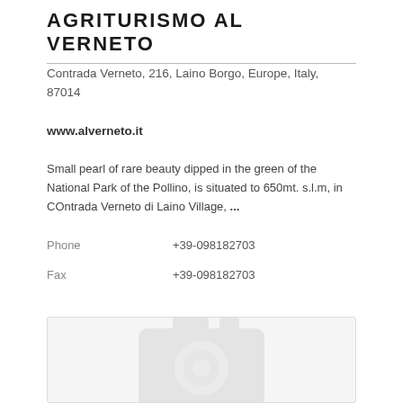AGRITURISMO AL VERNETO
Contrada Verneto, 216, Laino Borgo, Europe, Italy, 87014
www.alverneto.it
Small pearl of rare beauty dipped in the green of the National Park of the Pollino, is situated to 650mt. s.l.m, in COntrada Verneto di Laino Village, ...
Phone    +39-098182703
Fax    +39-098182703
[Figure (photo): Placeholder photo with a camera icon on light grey background]